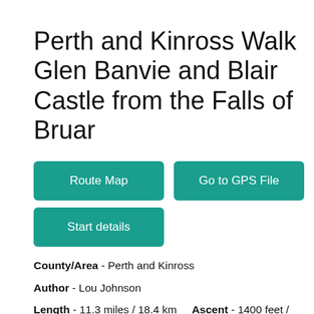Perth and Kinross Walk Glen Banvie and Blair Castle from the Falls of Bruar
Route Map
Go to GPS File
Start details
County/Area - Perth and Kinross
Author - Lou Johnson
Length - 11.3 miles / 18.4 km    Ascent - 1400 feet / 424